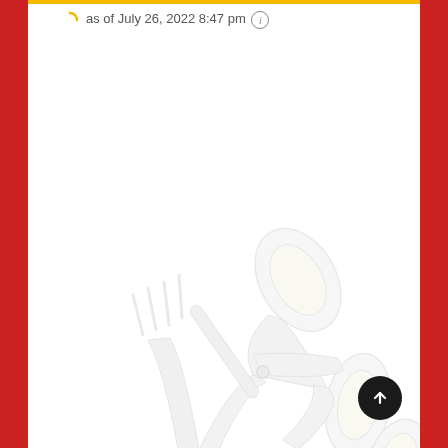as of July 26, 2022 8:47 pm ℹ
[Figure (illustration): Watermark illustration of scissors and a fork/knife crossed, rendered in very light gray and pale yellow tones on a white background, serving as a decorative background for a restaurant/food coupon or deals page.]